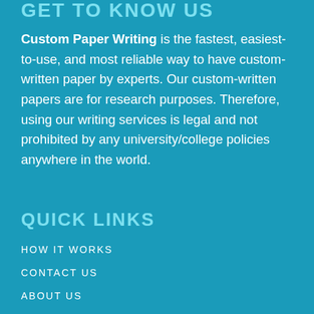GET TO KNOW US
Custom Paper Writing is the fastest, easiest-to-use, and most reliable way to have custom-written paper by experts. Our custom-written papers are for research purposes. Therefore, using our writing services is legal and not prohibited by any university/college policies anywhere in the world.
QUICK LINKS
HOW IT WORKS
CONTACT US
ABOUT US
OUR SERVICES